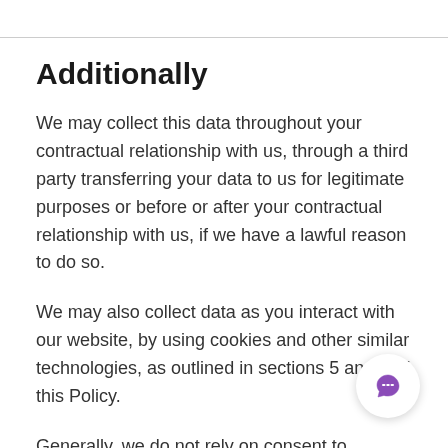Additionally
We may collect this data throughout your contractual relationship with us, through a third party transferring your data to us for legitimate purposes or before or after your contractual relationship with us, if we have a lawful reason to do so.
We may also collect data as you interact with our website, by using cookies and other similar technologies, as outlined in sections 5 and 6 of this Policy.
Generally, we do not rely on consent to process